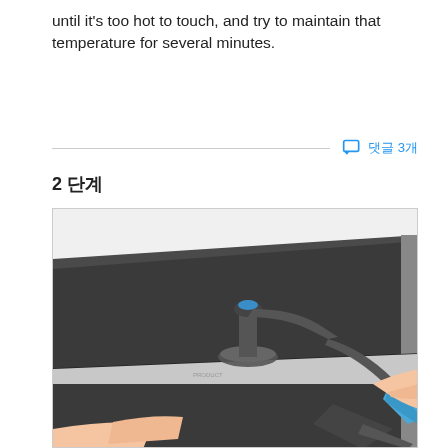until it's too hot to touch, and try to maintain that temperature for several minutes.
댓글 3개
2 단계
[Figure (photo): Hands using a suction cup tool and a blue pry opening pick/tool to open a tablet device. The suction cup is attached to the dark grey tablet surface near the edge, and the blue handled tool is being inserted at the seam.]